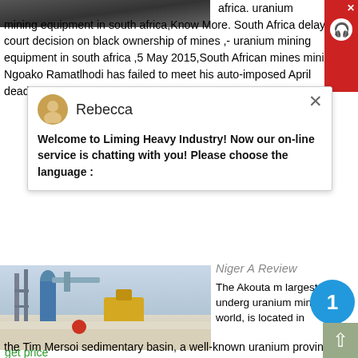[Figure (photo): Partial view of a dark/rocky surface image at the top left of the page, cropped]
africa. uranium mining equipment in south africa,Know More. South Africa delays court decision on black ownership of mines ,- uranium mining equipment in south africa ,5 May 2015,South African mines minister Ngoako Ramatlhodi has failed to meet his auto-imposed April deadline to ask courts help him resolve a dispu over
[Figure (screenshot): Chat popup from Rebecca: Welcome to Liming Heavy Industry! Now our on-line service is chatting with you! Please choose the language :]
[Figure (photo): Photo of a mining facility with industrial equipment, pipes, scaffolding, yellow machinery, snowy/dusty ground]
Niger A Review
The Akouta m largest underg uranium mine in the world, is located in the Tim Mersoi sedimentary basin, a well-known uranium province in northern Niger. Two mines in the province, the
get price